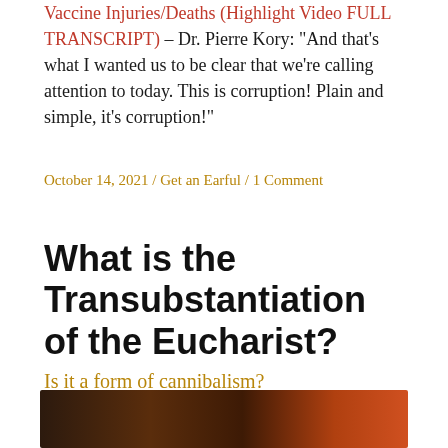Vaccine Injuries/Deaths (Highlight Video FULL TRANSCRIPT) – Dr. Pierre Kory: "And that's what I wanted us to be clear that we're calling attention to today. This is corruption! Plain and simple, it's corruption!"
October 14, 2021 / Get an Earful / 1 Comment
What is the Transubstantiation of the Eucharist?
Is it a form of cannibalism?
[Figure (photo): Dark reddish-brown image strip at the bottom of the page, partially visible, showing dark tones with orange-red highlights.]